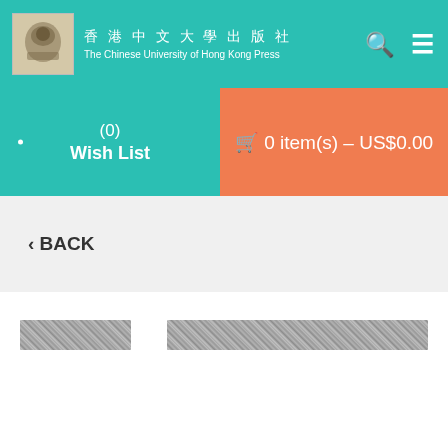香港中文大學出版社 The Chinese University of Hong Kong Press
(0) Wish List
🛒 0 item(s) - US$0.00
‹ BACK
[Figure (other): Two blurred/redacted image strips side by side]